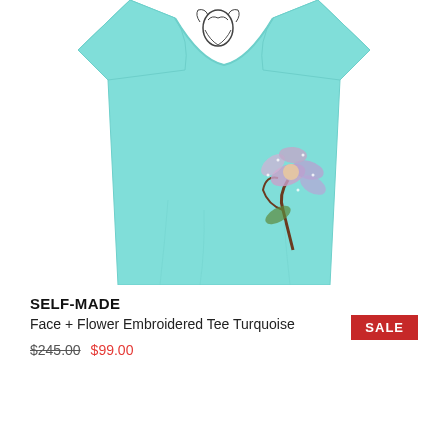[Figure (photo): A turquoise/mint colored t-shirt with embroidered flower designs. One flower sketch is visible near the neckline and a larger embroidered pink/silver floral design is on the lower right chest area.]
SELF-MADE
Face + Flower Embroidered Tee Turquoise
$245.00  $99.00
SALE